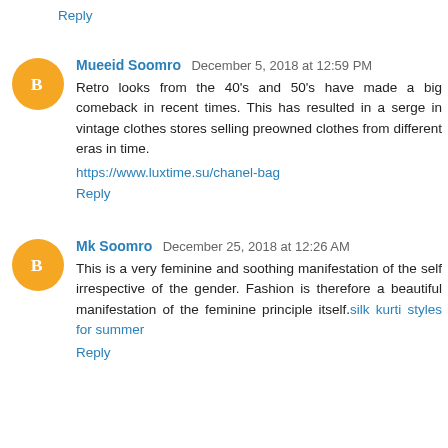Reply
Mueeid Soomro  December 5, 2018 at 12:59 PM
Retro looks from the 40's and 50's have made a big comeback in recent times. This has resulted in a serge in vintage clothes stores selling preowned clothes from different eras in time.
https://www.luxtime.su/chanel-bag
Reply
Mk Soomro  December 25, 2018 at 12:26 AM
This is a very feminine and soothing manifestation of the self irrespective of the gender. Fashion is therefore a beautiful manifestation of the feminine principle itself. silk kurti styles for summer
Reply